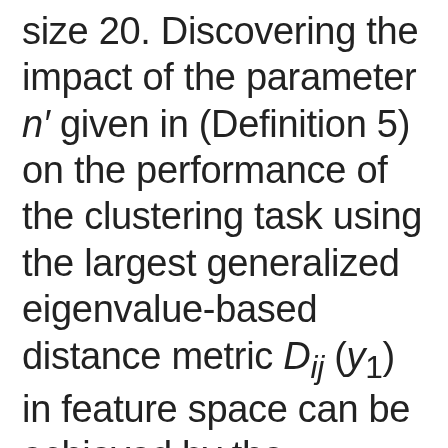size 20. Discovering the impact of the parameter n' given in (Definition 5) on the performance of the clustering task using the largest generalized eigenvalue-based distance metric D_ij (y_1) in feature space can be achieved by the following design of experiment. We generate